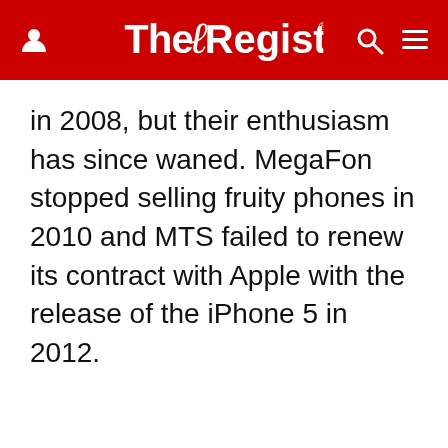The Register
in 2008, but their enthusiasm has since waned. MegaFon stopped selling fruity phones in 2010 and MTS failed to renew its contract with Apple with the release of the iPhone 5 in 2012.